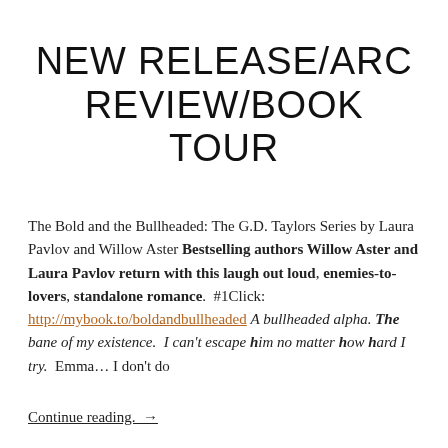NEW RELEASE/ARC REVIEW/BOOK TOUR
The Bold and the Bullheaded: The G.D. Taylors Series by Laura Pavlov and Willow Aster Bestselling authors Willow Aster and Laura Pavlov return with this laugh out loud, enemies-to-lovers, standalone romance.  #1Click: http://mybook.to/boldandbullheaded A bullheaded alpha. The bane of my existence.  I can't escape him no matter how hard I try.  Emma… I don't do
Continue reading.  →